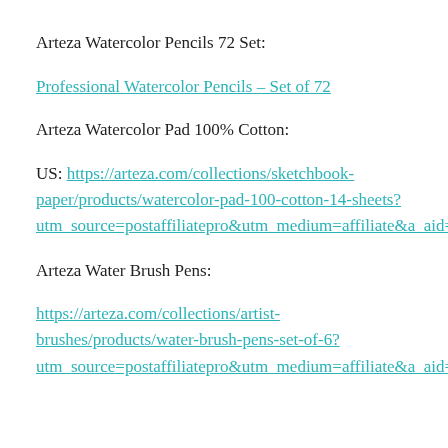Arteza Watercolor Pencils 72 Set:
Professional Watercolor Pencils – Set of 72
Arteza Watercolor Pad 100% Cotton:
US: https://arteza.com/collections/sketchbook-paper/products/watercolor-pad-100-cotton-14-sheets?utm_source=postaffiliatepro&utm_medium=affiliate&a_aid=Youtube_JackiesCraftTable&a_bid=ad781b16
Arteza Water Brush Pens:
https://arteza.com/collections/artist-brushes/products/water-brush-pens-set-of-6?utm_source=postaffiliatepro&utm_medium=affiliate&a_aid=Youtube_JackiesCraftTable&a_bid=1ba5c237